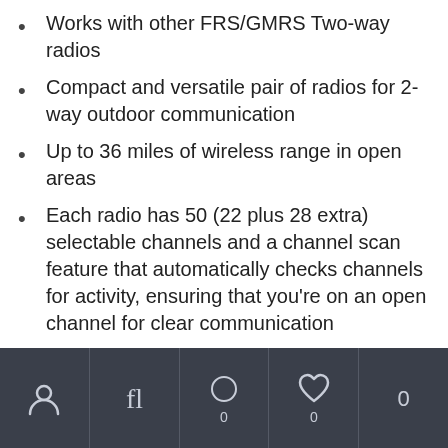Works with other FRS/GMRS Two-way radios
Compact and versatile pair of radios for 2-way outdoor communication
Up to 36 miles of wireless range in open areas
Each radio has 50 (22 plus 28 extra) selectable channels and a channel scan feature that automatically checks channels for activity, ensuring that you're on an open channel for clear communication
Monitor function checks for any activity within your channel. A dual watch function lets you monitor 2 channels
Navigation bar with account, filter, cart (0), wishlist, and count (0) icons